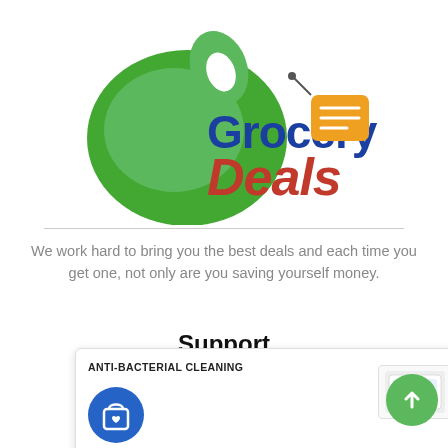[Figure (logo): Grocery Deals logo with green apple/leaf shape, blue 'Grocery' text, red 'Deals' text, and orange price tag icon]
We work hard to bring you the best deals and each time you get one, not only are you saving yourself money.
Support
About Us
ANTI-BACTERIAL CLEANING
NZD
[Figure (photo): Small product image of anti-bacterial cleaning wipes packet]
Privacy Policy